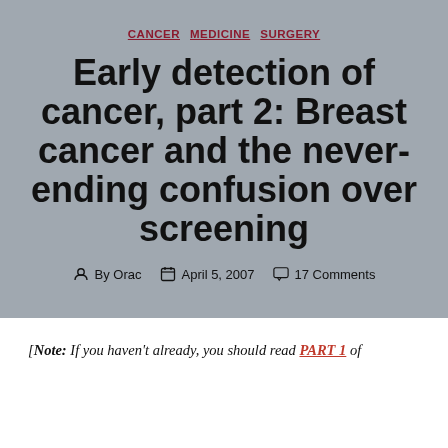CANCER  MEDICINE  SURGERY
Early detection of cancer, part 2: Breast cancer and the never-ending confusion over screening
By Orac  April 5, 2007  17 Comments
[Note: If you haven't already, you should read PART 1 of